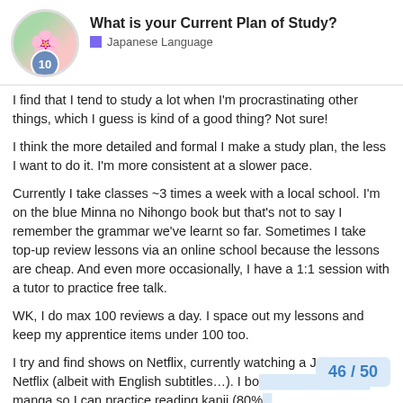What is your Current Plan of Study?
Japanese Language
I find that I tend to study a lot when I'm procrastinating other things, which I guess is kind of a good thing? Not sure!
I think the more detailed and formal I make a study plan, the less I want to do it. I'm more consistent at a slower pace.
Currently I take classes ~3 times a week with a local school. I'm on the blue Minna no Nihongo book but that's not to say I remember the grammar we've learnt so far. Sometimes I take top-up review lessons via an online school because the lessons are cheap. And even more occasionally, I have a 1:1 session with a tutor to practice free talk.
WK, I do max 100 reviews a day. I space out my lessons and keep my apprentice items under 100 too.
I try and find shows on Netflix, currently watching a J-drama on Netflix (albeit with English subtitles…). I bo manga so I can practice reading kanji (80%